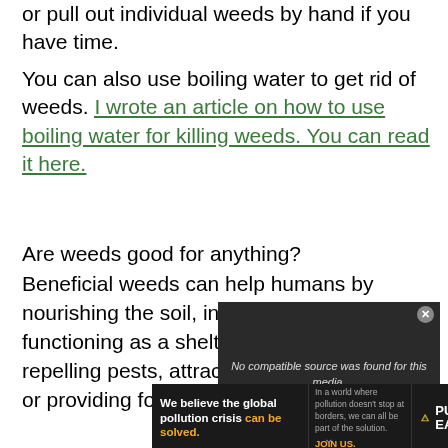or pull out individual weeds by hand if you have time.
You can also use boiling water to get rid of weeds. I wrote an article on how to use boiling water for killing weeds. You can read it here.
Are weeds good for anything?
Beneficial weeds can help humans by nourishing the soil, increasing moisture, functioning as a shelter or living mulch, repelling pests, attracting beneficial insects, or providing food or other resources.
[Figure (screenshot): Video player overlay showing 'No compatible source was found for this media.' message on a dark background]
[Figure (screenshot): Advertisement banner for Pure Earth organization with text 'We believe the global pollution crisis can be solved.' and 'JOIN US.' call to action]
[Figure (screenshot): Step-by-step video thumbnail with green background and 'STEP-BY-STEP' text overlay]